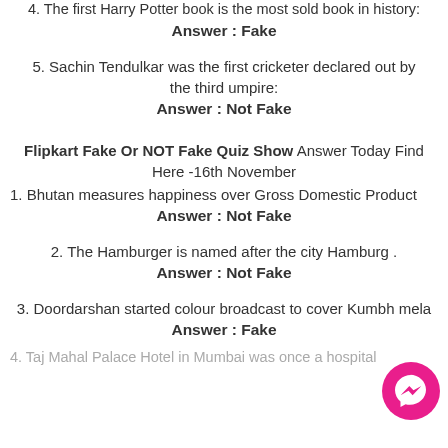4. The first Harry Potter book is the most sold book in history:
Answer : Fake
5. Sachin Tendulkar was the first cricketer declared out by the third umpire:
Answer : Not Fake
Flipkart Fake Or NOT Fake Quiz Show Answer Today Find Here -16th November
1. Bhutan measures happiness over Gross Domestic Product
Answer : Not Fake
2. The Hamburger is named after the city Hamburg .
Answer : Not Fake
3. Doordarshan started colour broadcast to cover Kumbh mela
Answer : Fake
4. Taj Mahal Palace Hotel in Mumbai was once a hospital